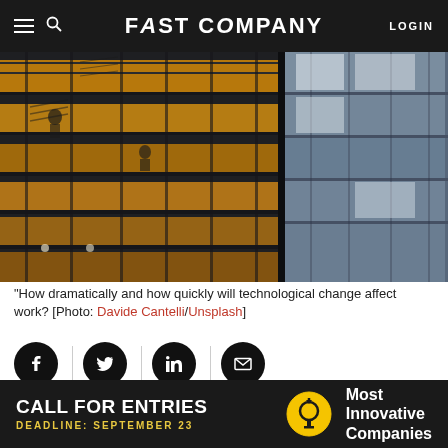FAST COMPANY  LOGIN
[Figure (photo): Night photo of a glass office building facade with yellow glowing windows showing silhouettes of people working inside, and a blue-tinted daytime reflection on the right side]
"How dramatically and how quickly will technological change affect work? [Photo: Davide Cantelli/Unsplash]
[Figure (other): Social media sharing buttons: Facebook, Twitter, LinkedIn, Email]
[Figure (infographic): Advertisement banner: CALL FOR ENTRIES - DEADLINE: SEPTEMBER 23 - Most Innovative Companies]